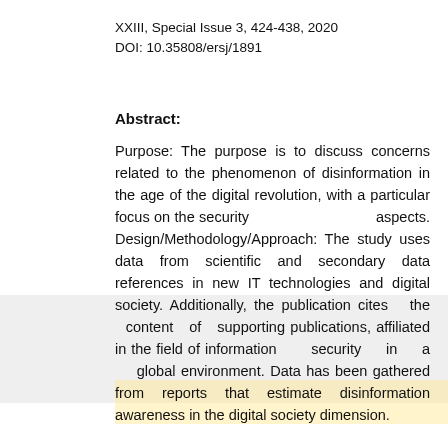XXIII, Special Issue 3, 424-438, 2020
DOI: 10.35808/ersj/1891
Abstract:
Purpose: The purpose is to discuss concerns related to the phenomenon of disinformation in the age of the digital revolution, with a particular focus on the security aspects. Design/Methodology/Approach: The study uses data from scientific and secondary data references in new IT technologies and digital society. Additionally, the publication cites the content of supporting publications, affiliated in the field of information security in a global environment. Data has been gathered from reports that estimate disinformation awareness in the digital society dimension.